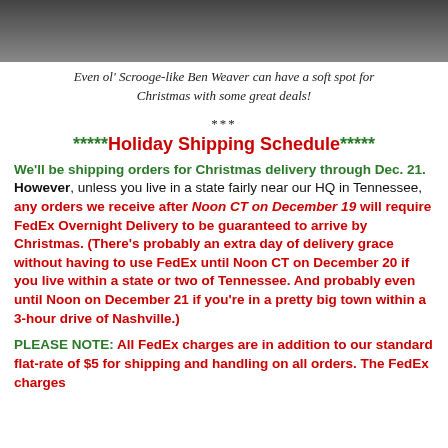[Figure (photo): Black and white photo of two men in suits, cropped at top of page]
Even ol' Scrooge-like Ben Weaver can have a soft spot for Christmas with some great deals!
***
*****Holiday Shipping Schedule*****
We'll be shipping orders for Christmas delivery through Dec. 21. However, unless you live in a state fairly near our HQ in Tennessee, any orders we receive after Noon CT on December 19 will require FedEx Overnight Delivery to be guaranteed to arrive by Christmas. (There's probably an extra day of delivery grace without having to use FedEx until Noon CT on December 20 if you live within a state or two of Tennessee. And probably even until Noon on December 21 if you're in a pretty big town within a 3-hour drive of Nashville.)
PLEASE NOTE: All FedEx charges are in addition to our standard flat-rate of $5 for shipping and handling on all orders. The FedEx charges